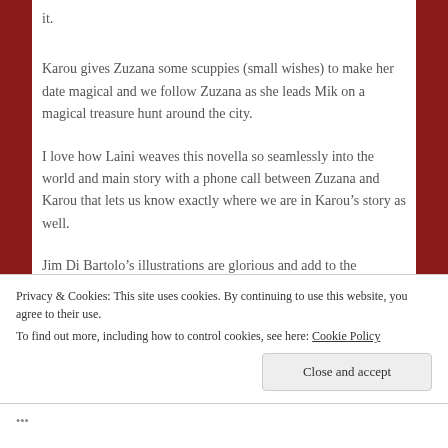it.
Karou gives Zuzana some scuppies (small wishes) to make her date magical and we follow Zuzana as she leads Mik on a magical treasure hunt around the city.
I love how Laini weaves this novella so seamlessly into the world and main story with a phone call between Zuzana and Karou that lets us know exactly where we are in Karou’s story as well.
Jim Di Bartolo’s illustrations are glorious and add to the
Privacy & Cookies: This site uses cookies. By continuing to use this website, you agree to their use.
To find out more, including how to control cookies, see here: Cookie Policy
Close and accept